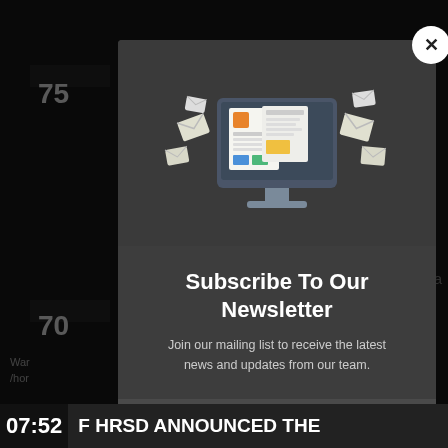[Figure (screenshot): Newsletter subscription popup modal overlay on a dark web page background. The modal contains an illustration of a computer monitor with envelopes/newsletters, a title 'Subscribe To Our Newsletter', descriptive text, an email input field, and a subscribe button. Behind the modal is a dark website with numbers (75, 70, 49) and text including 'arabia' and '20'. A close button (X) appears top-right of the modal. A news ticker at the bottom shows '07:52' and 'F HRSD ANNOUNCED THE'.]
Subscribe To Our Newsletter
Join our mailing list to receive the latest news and updates from our team.
07:52  F HRSD ANNOUNCED THE